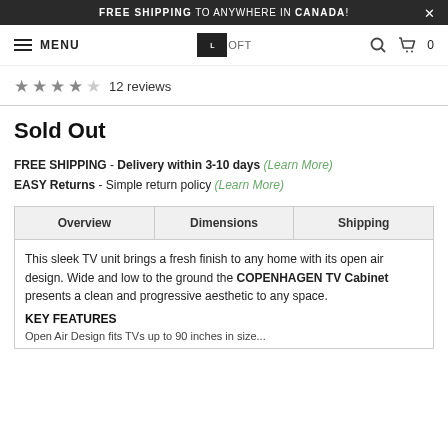FREE SHIPPING TO ANYWHERE IN CANADA!
[Figure (screenshot): Navigation bar with hamburger menu, LOFT logo, search icon, and cart icon showing 0 items]
★★★★☆ 12 reviews
Sold Out
FREE SHIPPING - Delivery within 3-10 days (Learn More)
EASY Returns - Simple return policy (Learn More)
Overview | Dimensions | Shipping
This sleek TV unit brings a fresh finish to any home with its open air design. Wide and low to the ground the COPENHAGEN TV Cabinet presents a clean and progressive aesthetic to any space.
KEY FEATURES
Open Air Design fits TVs up to 90 inches in size...